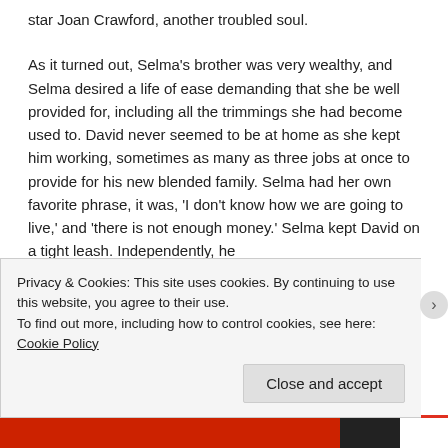star Joan Crawford, another troubled soul.
As it turned out, Selma's brother was very wealthy, and Selma desired a life of ease demanding that she be well provided for, including all the trimmings she had become used to. David never seemed to be at home as she kept him working, sometimes as many as three jobs at once to provide for his new blended family. Selma had her own favorite phrase, it was, 'I don't know how we are going to live,' and 'there is not enough money.' Selma kept David on a tight leash. Independently, he
Privacy & Cookies: This site uses cookies. By continuing to use this website, you agree to their use.
To find out more, including how to control cookies, see here: Cookie Policy
Close and accept